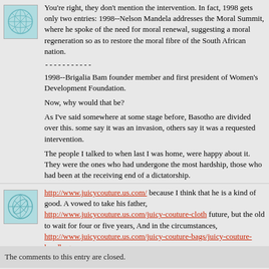You're right, they don't mention the intervention. In fact, 1998 gets only two entries: 1998--Nelson Mandela addresses the Moral Summit, where he spoke of the need for moral renewal, suggesting a moral regeneration so as to restore the moral fibre of the South African nation.
-----------
1998--Brigalia Bam founder member and first president of Women's Development Foundation.

Now, why would that be?

As I've said somewhere at some stage before, Basotho are divided over this. some say it was an invasion, others say it was a requested intervention.

The people I talked to when last I was home, were happy about it. They were the ones who had undergone the most hardship, those who had been at the receiving end of a dictatorship.

Those who were unhappy, I suppose, were the ones who had had things good during the hard years when there were no elections in Lesotho.

Now, is Mangosuthu trigger-happy? Perhaps so. Did the then (freely and fairly elected) government of Lesotho call for help from its neighbours? Perhaps so.
Posted by: Rethabile | December 10, 2005 at 01:37 AM
http://www.juicycouture.us.com/ because I think that he is a kind of good. A vowed to take his father, http://www.juicycouture.us.com/juicy-couture-cloth future, but the old to wait for four or five years, And in the circumstances, http://www.juicycouture.us.com/juicy-couture-bags/juicy-couture-handbags
Posted by: chenling | December 05, 2010 at 10:54 AM
The comments to this entry are closed.